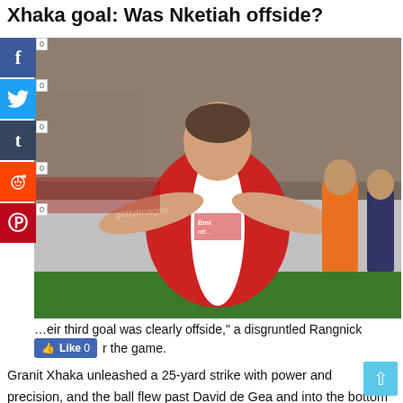Xhaka goal: Was Nketiah offside?
[Figure (photo): Granit Xhaka celebrating a goal in Arsenal red and white kit, arms outstretched, with crowd and other players visible in background at Emirates Stadium]
"Their third goal was clearly offside," a disgruntled Rangnick [said af]ter the game.
Granit Xhaka unleashed a 25-yard strike with power and precision, and the ball flew past David de Gea and into the bottom corner to spark wild celebrations at the Emirates Stadium.